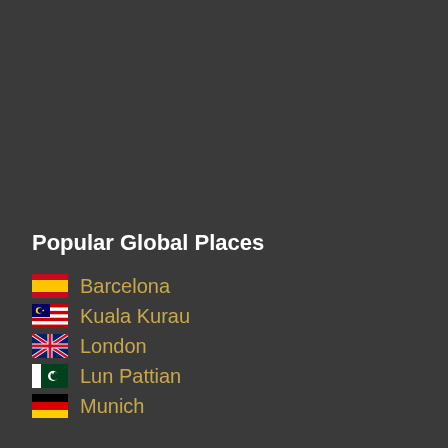Popular Global Places
Barcelona
Kuala Kurau
London
Lun Pattian
Munich